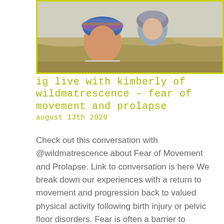[Figure (photo): Outdoor photo of two people, one wearing a colorful knit headband smiling upward, the other (a child) in a grey hooded jacket, with dry brush/shrubs in the background. Photo has a yellow-green border.]
ig live with kimberly of wildmatrescence – fear of movement and prolapse
august 13th 2020
Check out this conversation with @wildmatrescence about Fear of Movement and Prolapse. Link to conversation is here We break down our experiences with a return to movement and progression back to valued physical activity following birth injury or pelvic floor disorders. Fear is often a barrier to progressive exercise for women, and the pros that treat them….